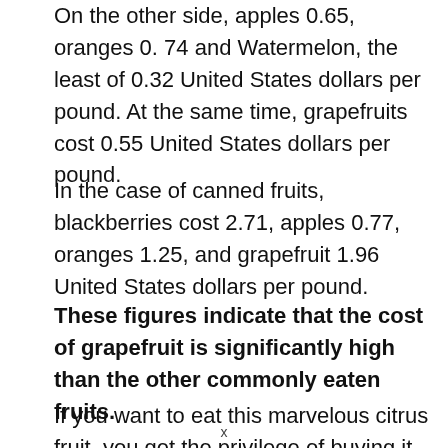On the other side, apples 0.65, oranges 0.74 and Watermelon, the least of 0.32 United States dollars per pound. At the same time, grapefruits cost 0.55 United States dollars per pound.
In the case of canned fruits, blackberries cost 2.71, apples 0.77, oranges 1.25, and grapefruit 1.96 United States dollars per pound.
These figures indicate that the cost of grapefruit is significantly high than the other commonly eaten fruits.
If you want to eat this marvelous citrus fruit, you get the privilege of buying it from multiple grocery stores
x